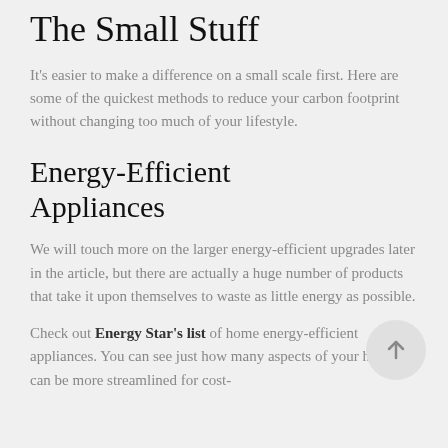The Small Stuff
It's easier to make a difference on a small scale first. Here are some of the quickest methods to reduce your carbon footprint without changing too much of your lifestyle.
Energy-Efficient Appliances
We will touch more on the larger energy-efficient upgrades later in the article, but there are actually a huge number of products that take it upon themselves to waste as little energy as possible.
Check out Energy Star's list of home energy-efficient appliances. You can see just how many aspects of your home can be more streamlined for cost-